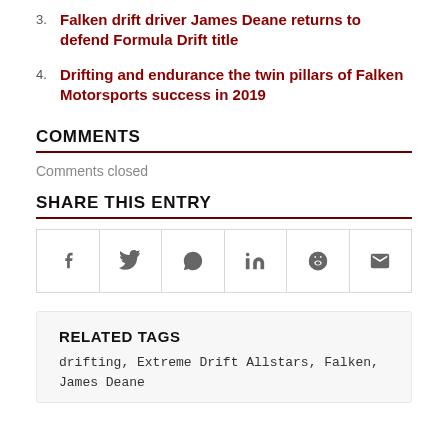3. Falken drift driver James Deane returns to defend Formula Drift title
4. Drifting and endurance the twin pillars of Falken Motorsports success in 2019
COMMENTS
Comments closed
SHARE THIS ENTRY
[Figure (infographic): Row of six social share icon buttons: Facebook, Twitter, WhatsApp, LinkedIn, Reddit, Email]
RELATED TAGS
drifting, Extreme Drift Allstars, Falken, James Deane